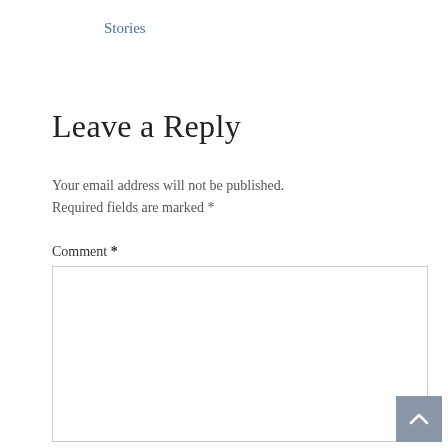Stories
Leave a Reply
Your email address will not be published. Required fields are marked *
Comment *
[Figure (other): Empty comment text area input box]